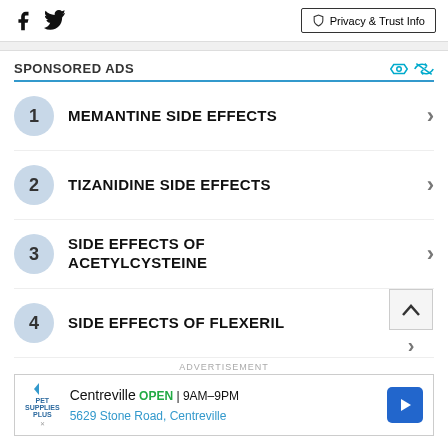Facebook Twitter | Privacy & Trust Info
SPONSORED ADS
MEMANTINE SIDE EFFECTS
TIZANIDINE SIDE EFFECTS
SIDE EFFECTS OF ACETYLCYSTEINE
SIDE EFFECTS OF FLEXERIL
ADVERTISEMENT
Centreville OPEN | 9AM–9PM 5629 Stone Road, Centreville